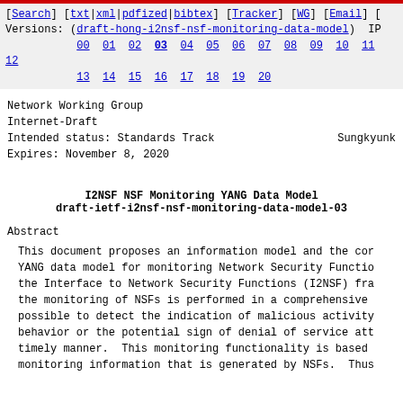[Search] [txt|xml|pdfized|bibtex] [Tracker] [WG] [Email] [ Versions: (draft-hong-i2nsf-nsf-monitoring-data-model) IP 00 01 02 03 04 05 06 07 08 09 10 11 12 13 14 15 16 17 18 19 20
Network Working Group
Internet-Draft
Intended status: Standards Track                        Sungkyunk
Expires: November 8, 2020
I2NSF NSF Monitoring YANG Data Model
draft-ietf-i2nsf-nsf-monitoring-data-model-03
Abstract
This document proposes an information model and the cor YANG data model for monitoring Network Security Functio the Interface to Network Security Functions (I2NSF) fra the monitoring of NSFs is performed in a comprehensive possible to detect the indication of malicious activity behavior or the potential sign of denial of service att timely manner.  This monitoring functionality is based monitoring information that is generated by NSFs.  Thus